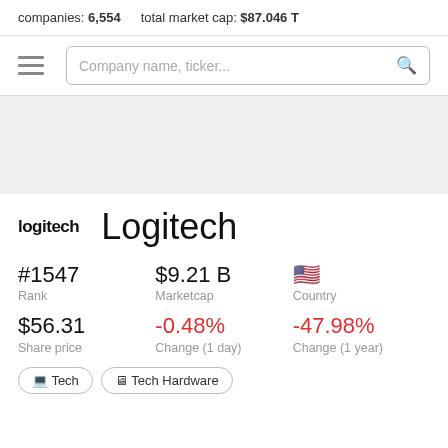companies: 6,554   total market cap: $87.046 T
[Figure (screenshot): Navigation bar with hamburger menu icon and search box labeled 'Company name, ticker...']
Logitech
#1547
Rank
$9.21 B
Marketcap
[Country flag]
Country
$56.31
Share price
-0.48%
Change (1 day)
-47.98%
Change (1 year)
Tech
Tech Hardware